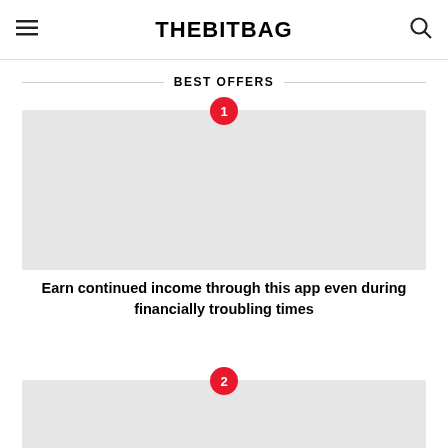THEBITBAG
BEST OFFERS
[Figure (photo): Image placeholder 1 with numbered badge '1']
Earn continued income through this app even during financially troubling times
[Figure (photo): Image placeholder 2 with numbered badge '2']